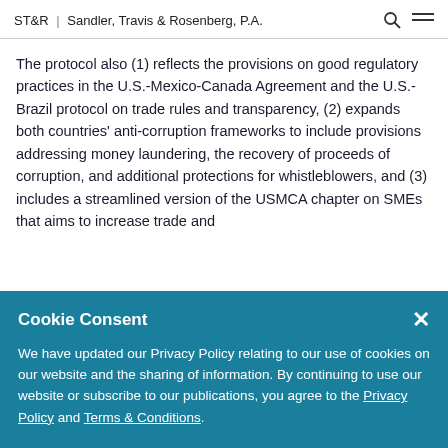ST&R | Sandler, Travis & Rosenberg, P.A.
The protocol also (1) reflects the provisions on good regulatory practices in the U.S.-Mexico-Canada Agreement and the U.S.-Brazil protocol on trade rules and transparency, (2) expands both countries' anti-corruption frameworks to include provisions addressing money laundering, the recovery of proceeds of corruption, and additional protections for whistleblowers, and (3) includes a streamlined version of the USMCA chapter on SMEs that aims to increase trade and
Cookie Consent
We have updated our Privacy Policy relating to our use of cookies on our website and the sharing of information. By continuing to use our website or subscribe to our publications, you agree to the Privacy Policy and Terms & Conditions.